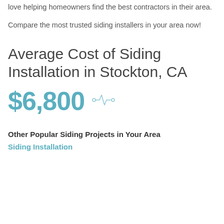love helping homeowners find the best contractors in their area.
Compare the most trusted siding installers in your area now!
Average Cost of Siding Installation in Stockton, CA
$6,800
Other Popular Siding Projects in Your Area
Siding Installation